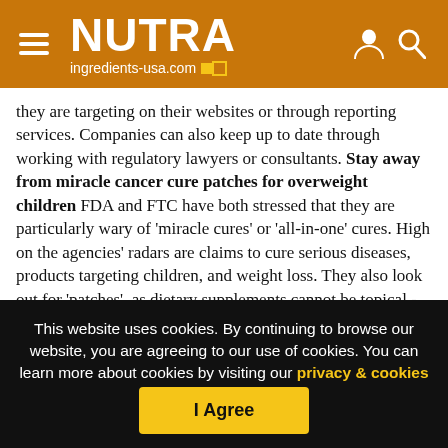NUTRA ingredients-usa.com
they are targeting on their websites or through reporting services. Companies can also keep up to date through working with regulatory lawyers or consultants. Stay away from miracle cancer cure patches for overweight children FDA and FTC have both stressed that they are particularly wary of 'miracle cures' or 'all-in-one' cures. High on the agencies' radars are claims to cure serious diseases, products targeting children, and weight loss. They also look out for 'patches', as dietary supplements cannot be topical - they must be ingested. DBPCSS. Double Blind Placebo Controlled
This website uses cookies. By continuing to browse our website, you are agreeing to our use of cookies. You can learn more about cookies by visiting our privacy & cookies policy page.
I Agree